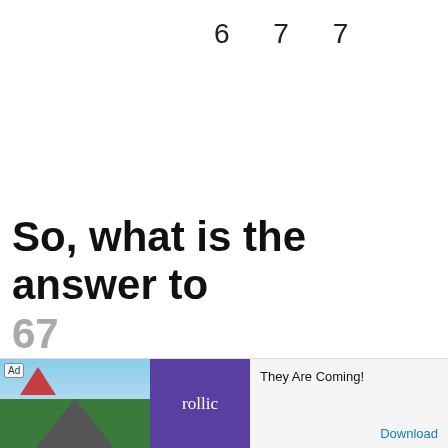6  7  7
So, what is the answer to 677 divided by 6000
[Figure (screenshot): Advertisement banner at bottom: Ad label, image of a road/mountain scene, Rollic purple logo, text 'They Are Coming!' and 'Download' button]